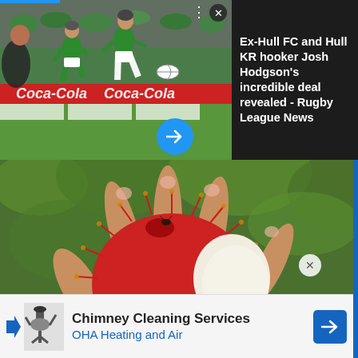[Figure (photo): Rugby league players in green jerseys running with a ball on a field, with Coca-Cola advertising hoardings visible in the background]
Ex-Hull FC and Hull KR hooker Josh Hodgson's incredible deal revealed - Rugby League News
[Figure (photo): Close-up photo of a hand holding open a rambutan fruit showing its red spiky exterior and white interior flesh, with green foliage in background]
Chimney Cleaning Services
OHA Heating and Air